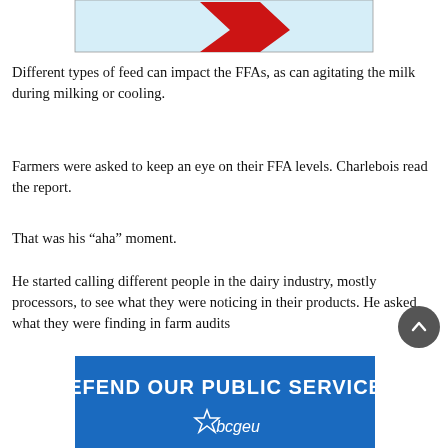[Figure (illustration): Top portion of a graphic partially visible — light blue background with a red arrow or logo shape.]
Different types of feed can impact the FFAs, as can agitating the milk during milking or cooling.
Farmers were asked to keep an eye on their FFA levels. Charlebois read the report.
That was his “aha” moment.
He started calling different people in the dairy industry, mostly processors, to see what they were noticing in their products. He asked what they were finding in farm audits
[Figure (illustration): Blue banner advertisement reading 'DEFEND OUR PUBLIC SERVICES' with bcgeu star logo below.]